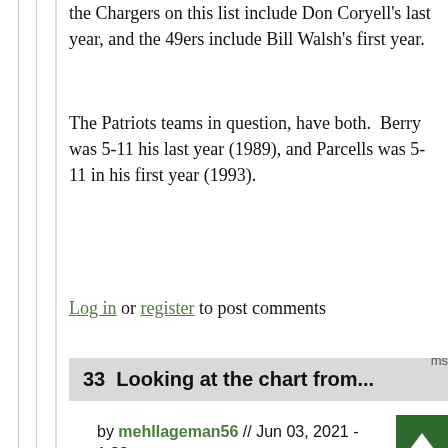the Chargers on this list include Don Coryell's last year, and the 49ers include Bill Walsh's first year.
The Patriots teams in question, have both.  Berry was 5-11 his last year (1989), and Parcells was 5-11 in his first year (1993).
Log in or register to post comments
33  Looking at the chart from...
by mehllageman56 // Jun 03, 2021 - 1:33pm
Looking at the chart from the original article, that era (or error) of Patriots football made it onto the